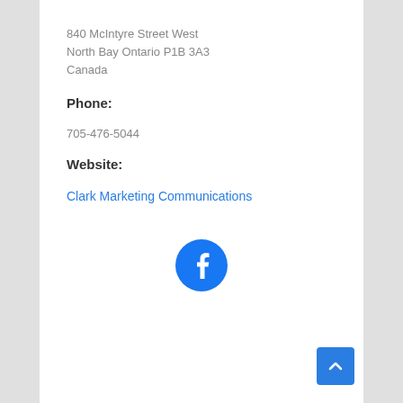840 McIntyre Street West
North Bay Ontario P1B 3A3
Canada
Phone:
705-476-5044
Website:
Clark Marketing Communications
[Figure (logo): Facebook logo icon — blue circle with white 'f' letterform]